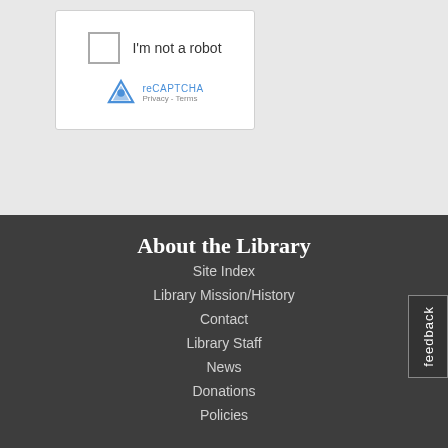[Figure (screenshot): reCAPTCHA widget with checkbox labeled 'I'm not a robot', reCAPTCHA logo, and Privacy/Terms links]
Submit
About the Library
Site Index
Library Mission/History
Contact
Library Staff
News
Donations
Policies
feedback